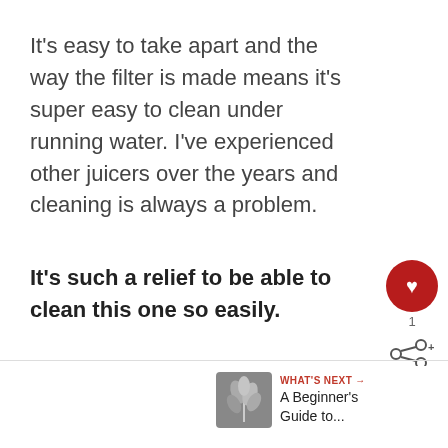It's easy to take apart and the way the filter is made means it's super easy to clean under running water. I've experienced other juicers over the years and cleaning is always a problem.
It's such a relief to be able to clean this one so easily.
[Figure (infographic): Social interaction UI: heart (like) button in dark red circle with count '1', and a share button below it]
[Figure (infographic): What's Next panel with small thumbnail image and text: 'WHAT'S NEXT → A Beginner's Guide to...']